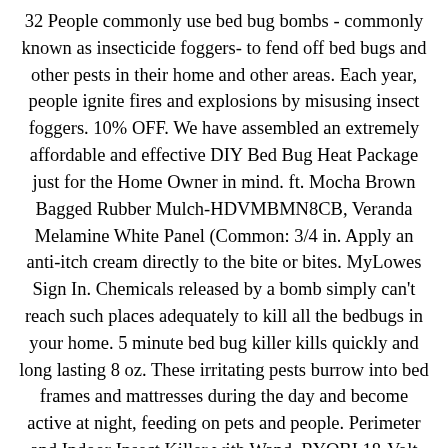32 People commonly use bed bug bombs - commonly known as insecticide foggers- to fend off bed bugs and other pests in their home and other areas. Each year, people ignite fires and explosions by misusing insect foggers. 10% OFF. We have assembled an extremely affordable and effective DIY Bed Bug Heat Package just for the Home Owner in mind. ft. Mocha Brown Bagged Rubber Mulch-HDVMBMN8CB, Veranda Melamine White Panel (Common: 3/4 in. Apply an anti-itch cream directly to the bite or bites. MyLowes Sign In. Chemicals released by a bomb simply can't reach such places adequately to kill all the bedbugs in your home. 5 minute bed bug killer kills quickly and long lasting 8 oz. These irritating pests burrow into bed frames and mattresses during the day and become active at night, feeding on pets and people. Perimeter and Indoor Insect Killer with Wand, RYOBI 18-Volt One+ Cordless Orbital Jig Saw (Tool-Only), Unbranded 1 in. You will likely need to perform follow-up spot treatments. Plus bed bug